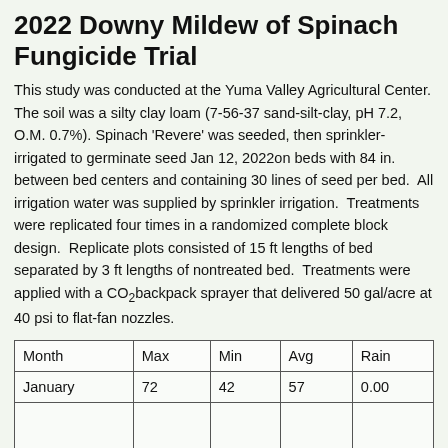2022 Downy Mildew of Spinach Fungicide Trial
This study was conducted at the Yuma Valley Agricultural Center. The soil was a silty clay loam (7-56-37 sand-silt-clay, pH 7.2, O.M. 0.7%). Spinach 'Revere' was seeded, then sprinkler-irrigated to germinate seed Jan 12, 2022on beds with 84 in. between bed centers and containing 30 lines of seed per bed.  All irrigation water was supplied by sprinkler irrigation.  Treatments were replicated four times in a randomized complete block design.  Replicate plots consisted of 15 ft lengths of bed separated by 3 ft lengths of nontreated bed.  Treatments were applied with a CO₂backpack sprayer that delivered 50 gal/acre at 40 psi to flat-fan nozzles.
| Month | Max | Min | Avg | Rain |
| --- | --- | --- | --- | --- |
| January | 72 | 42 | 57 | 0.00 |